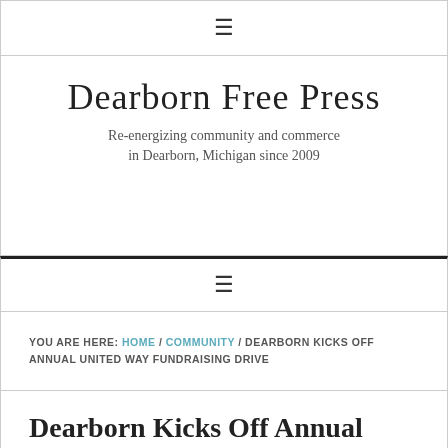☰
Dearborn Free Press
Re-energizing community and commerce in Dearborn, Michigan since 2009
☰
YOU ARE HERE: HOME / COMMUNITY / DEARBORN KICKS OFF ANNUAL UNITED WAY FUNDRAISING DRIVE
Dearborn Kicks Off Annual